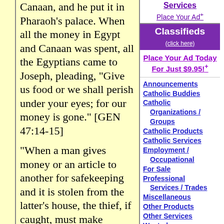Canaan, and he put it in Pharaoh's palace. When all the money in Egypt and Canaan was spent, all the Egyptians came to Joseph, pleading, "Give us food or we shall perish under your eyes; for our money is gone." [GEN 47:14-15]
"When a man gives money or an article to another for safekeeping and it is stolen from the latter's house, the thief, if caught, must make twofold restitution." [EX 22:6]
"If you lend money to one of your poor neighbors among my people, you shall not act like an extortioner toward him by demanding interest from
Services
Place Your Ad+
Classifieds (click here)
Place Your Ad Today For Just $9.95!+
Announcements
Catholic Buddies
Catholic Organizations / Groups
Catholic Products
Catholic Services
Employment / Occupational
For Sale
Professional Services / Trades
Miscellaneous
Other Products
Other Services
Wanted